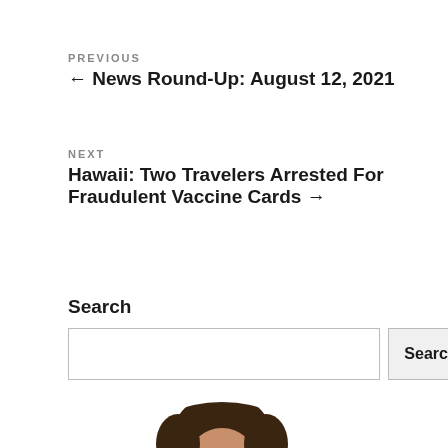PREVIOUS
← News Round-Up: August 12, 2021
NEXT
Hawaii: Two Travelers Arrested For Fraudulent Vaccine Cards →
Search
[Figure (photo): Circular portrait photo of a person, partially visible at the bottom of the page]